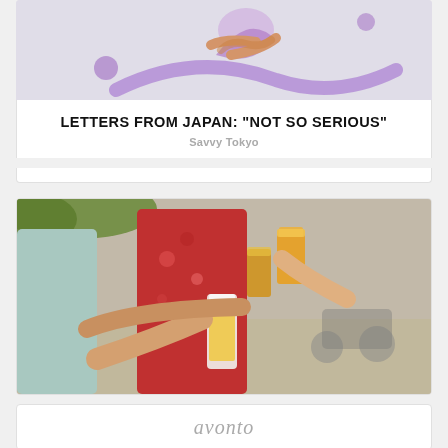[Figure (illustration): Decorative illustration with purple abstract shapes and figure on light grey background]
LETTERS FROM JAPAN: “NOT SO SERIOUS”
Savvy Tokyo
[Figure (photo): People holding glasses of beer and juice outdoors, clinking glasses in a toast]
[Figure (logo): Partial logo text visible at bottom, cursive script in grey]